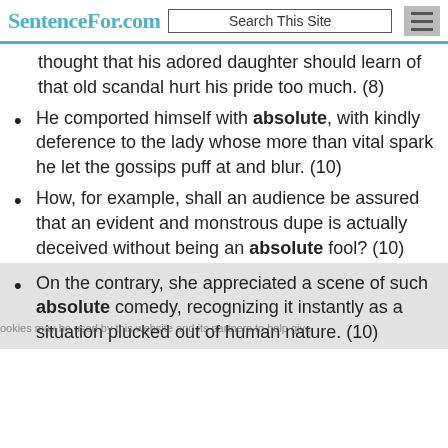SentenceFor.com | Search This Site
thought that his adored daughter should learn of that old scandal hurt his pride too much. (8)
He comported himself with absolute, with kindly deference to the lady whose more than vital spark he let the gossips puff at and blur. (10)
How, for example, shall an audience be assured that an evident and monstrous dupe is actually deceived without being an absolute fool? (10)
On the contrary, she appreciated a scene of such absolute comedy, recognizing it instantly as a situation plucked out of human nature. (10)